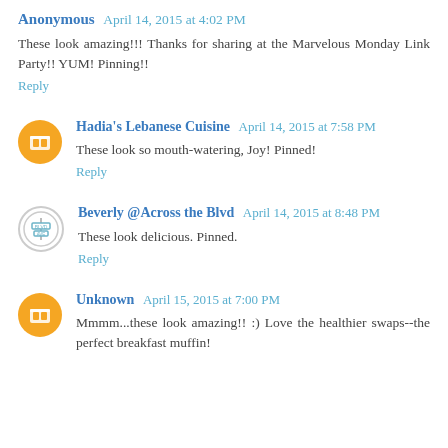Anonymous April 14, 2015 at 4:02 PM
These look amazing!!! Thanks for sharing at the Marvelous Monday Link Party!! YUM! Pinning!!
Reply
Hadia's Lebanese Cuisine April 14, 2015 at 7:58 PM
These look so mouth-watering, Joy! Pinned!
Reply
Beverly @Across the Blvd April 14, 2015 at 8:48 PM
These look delicious. Pinned.
Reply
Unknown April 15, 2015 at 7:00 PM
Mmmm...these look amazing!! :) Love the healthier swaps--the perfect breakfast muffin!